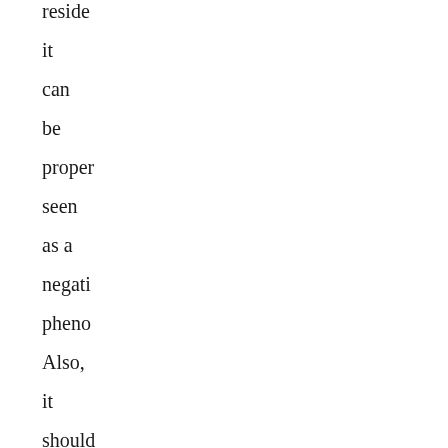reside it can be properly seen as a negative pheno Also, it should not be forgot that locally owned busine and corpo chains have funda differe econo impac the